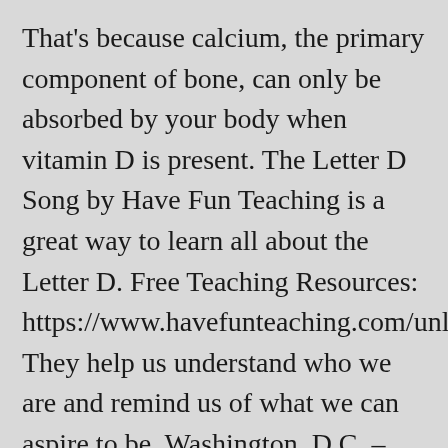That's because calcium, the primary component of bone, can only be absorbed by your body when vitamin D is present. The Letter D Song by Have Fun Teaching is a great way to learn all about the Letter D. Free Teaching Resources: https://www.havefunteaching.com/unlimited. They help us understand who we are and remind us of what we can aspire to be. Washington, D.C. – Today, legislation introduced by Rep. Mike Levin (D-CA) to strengthen and expand services for veterans passed the House of Representatives and will now go to the President for his signature. Monuments and memorials, eclectic neighborhoods, true local flavor –